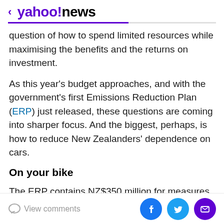< yahoo!news
question of how to spend limited resources while maximising the benefits and the returns on investment.
As this year's budget approaches, and with the government's first Emissions Reduction Plan (ERP) just released, these questions are coming into sharper focus. And the biggest, perhaps, is how to reduce New Zealanders' dependence on cars.
On your bike
The ERP contains NZ$350 million for measures to improve low-impact transport modes such as walking, cycling and public transport, including provision for at least 10 km of cycle routes...
View comments